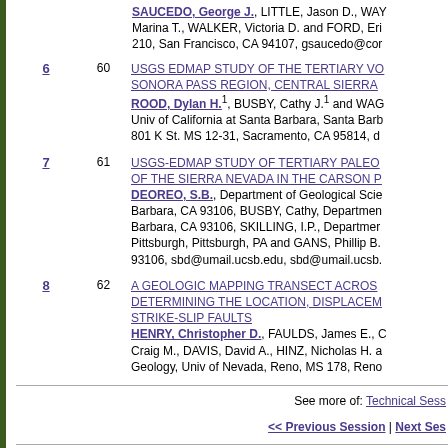SAUCEDO, George J., LITTLE, Jason D., WAY... Marina T., WALKER, Victoria D. and FORD, Eri... 210, San Francisco, CA 94107, gsaucedo@cor...
6  60  USGS EDMAP STUDY OF THE TERTIARY VO... SONORA PASS REGION, CENTRAL SIERRA... ROOD, Dylan H.1, BUSBY, Cathy J.1 and WAG... Univ of California at Santa Barbara, Santa Barb... 801 K St. MS 12-31, Sacramento, CA 95814, d...
7  61  USGS-EDMAP STUDY OF TERTIARY PALEO... OF THE SIERRA NEVADA IN THE CARSON P... DEOREO, S.B., Department of Geological Scie... Barbara, CA 93106, BUSBY, Cathy, Departmen... Barbara, CA 93106, SKILLING, I.P., Departmer... Pittsburgh, Pittsburgh, PA and GANS, Phillip B.... 93106, sbd@umail.ucsb.edu, sbd@umail.ucsb...
8  62  A GEOLOGIC MAPPING TRANSECT ACROS... DETERMINING THE LOCATION, DISPLACEM... STRIKE-SLIP FAULTS  HENRY, Christopher D., FAULDS, James E., C... Craig M., DAVIS, David A., HINZ, Nicholas H. a... Geology, Univ of Nevada, Reno, MS 178, Reno...
See more of: Technical Sess...
<< Previous Session | Next Ses...